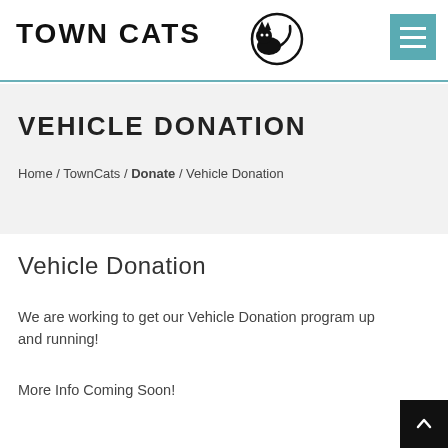TOWN CATS
VEHICLE DONATION
Home / TownCats / Donate / Vehicle Donation
Vehicle Donation
We are working to get our Vehicle Donation program up and running!
More Info Coming Soon!